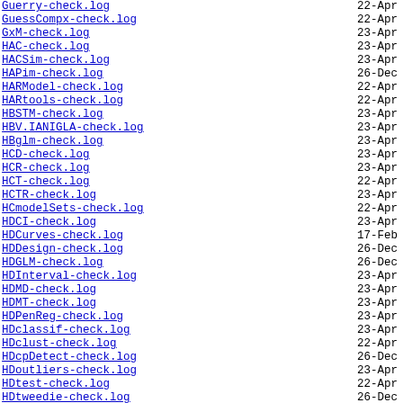Guerry-check.log  22-Apr
GuessCompx-check.log  22-Apr
GxM-check.log  23-Apr
HAC-check.log  23-Apr
HACSim-check.log  23-Apr
HAPim-check.log  26-Dec
HARModel-check.log  22-Apr
HARtools-check.log  22-Apr
HBSTM-check.log  23-Apr
HBV.IANIGLA-check.log  23-Apr
HBglm-check.log  23-Apr
HCD-check.log  23-Apr
HCR-check.log  23-Apr
HCT-check.log  22-Apr
HCTR-check.log  23-Apr
HCmodelSets-check.log  22-Apr
HDCI-check.log  23-Apr
HDCurves-check.log  17-Feb
HDDesign-check.log  26-Dec
HDGLM-check.log  26-Dec
HDInterval-check.log  23-Apr
HDMD-check.log  23-Apr
HDMT-check.log  23-Apr
HDPenReg-check.log  23-Apr
HDclassif-check.log  23-Apr
HDclust-check.log  22-Apr
HDcpDetect-check.log  26-Dec
HDoutliers-check.log  23-Apr
HDtest-check.log  22-Apr
HDtweedie-check.log  26-Dec
HEMAS-check.log  23-Apr